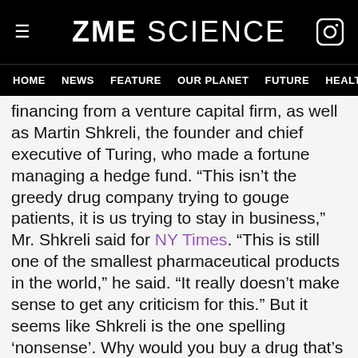ZME SCIENCE
HOME  NEWS  FEATURE  OUR PLANET  FUTURE  HEALT
financing from a venture capital firm, as well as Martin Shkreli, the founder and chief executive of Turing, who made a fortune managing a hedge fund. “This isn’t the greedy drug company trying to gouge patients, it is us trying to stay in business,” Mr. Shkreli said for NY Times. “This is still one of the smallest pharmaceutical products in the world,” he said. “It really doesn’t make sense to get any criticism for this.” But it seems like Shkreli is the one spelling ‘nonsense’. Why would you buy a drug that’s been working well for nearly 60 years? Nobody cares about the side effects. These include nausea, vomiting, and loss of